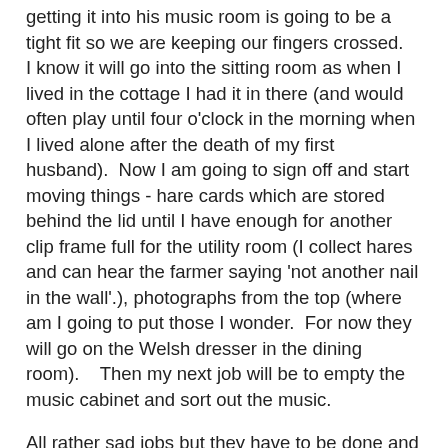getting it into his music room is going to be a tight fit so we are keeping our fingers crossed.   I know it will go into the sitting room as when I lived in the cottage I had it in there (and would often play until four o'clock in the morning when I lived alone after the death of my first husband).  Now I am going to sign off and start moving things - hare cards which are stored behind the lid until I have enough for another clip frame full for the utility room (I collect hares and can hear the farmer saying 'not another nail in the wall'.), photographs from the top (where am I going to put those I wonder.  For now they will go on the Welsh dresser in the dining room).   Then my next job will be to empty the music cabinet and sort out the music.
All rather sad jobs but they have to be done and the space will be useful as we only use that room when we have a lot of people there and there is never enough room for us all.